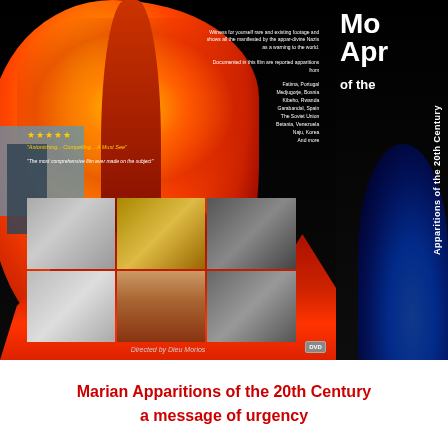[Figure (photo): DVD cover image for 'Marian Apparitions of the 20th Century - a message of urgency'. Shows a large nuclear mushroom cloud explosion with orange and red fire on the left side, a DVD spine on the right with the title in large white text rotated vertically, five-star rating, review quotes, a grid of smaller photos including astronaut, golden cross/altar, battle scenes, a white religious statue, an image of the Virgin Mary, and war scenes. Director credit 'Directed by Dieu Morios' at bottom and DVD logo.]
Marian Apparitions of the 20th Century
a message of urgency